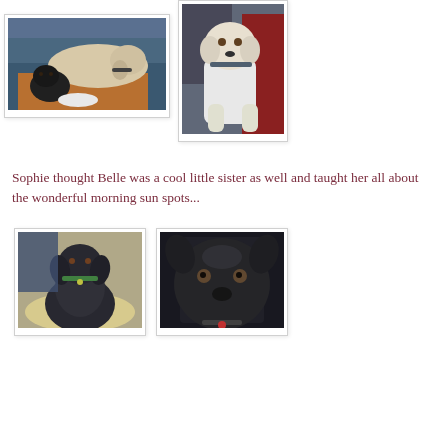[Figure (photo): Photo of a white/yellow Labrador lying on a blue couch cushion with a small black puppy next to it, a white plate visible in the foreground]
[Figure (photo): Photo of a large white dog (Labrador) standing indoors, facing the camera, with a red container and dark background]
Sophie thought Belle was a cool little sister as well and taught her all about the wonderful morning sun spots...
[Figure (photo): Photo of a dark/black dog sitting in a sunny spot on the floor, looking up at the camera]
[Figure (photo): Close-up photo of a black dog's face looking directly at the camera]